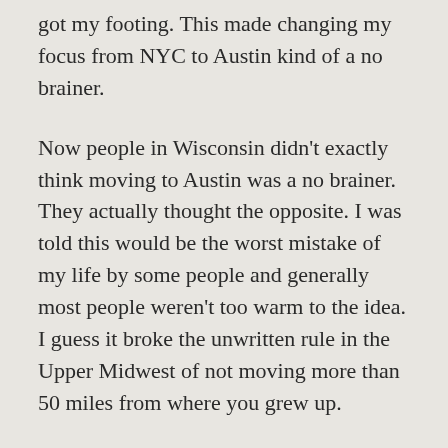got my footing. This made changing my focus from NYC to Austin kind of a no brainer.
Now people in Wisconsin didn't exactly think moving to Austin was a no brainer. They actually thought the opposite. I was told this would be the worst mistake of my life by some people and generally most people weren't too warm to the idea. I guess it broke the unwritten rule in the Upper Midwest of not moving more than 50 miles from where you grew up.
I kept applying for jobs and got a few hits but it became apparent that most companies wanted a local candidate. It made more sense for me to quit my job, move down to Austin, and then start applying for jobs. I had saved a decent amount of money and decided that I would do this move after my lease ended in Wisconsin. This would give me several months to start